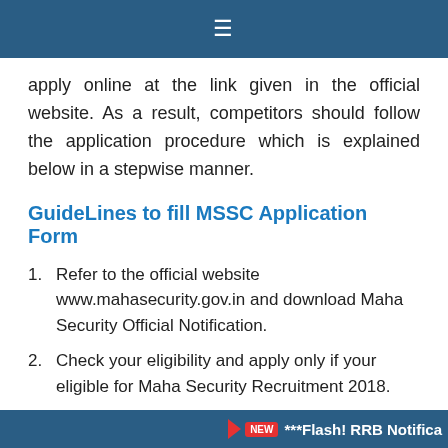≡
apply online at the link given in the official website. As a result, competitors should follow the application procedure which is explained below in a stepwise manner.
GuideLines to fill MSSC Application Form
1. Refer to the official website www.mahasecurity.gov.in and download Maha Security Official Notification.
2. Check your eligibility and apply only if your eligible for Maha Security Recruitment 2018.
3. Click on the Apply link of MSSC Security
NEW ***Flash! RRB Notifica